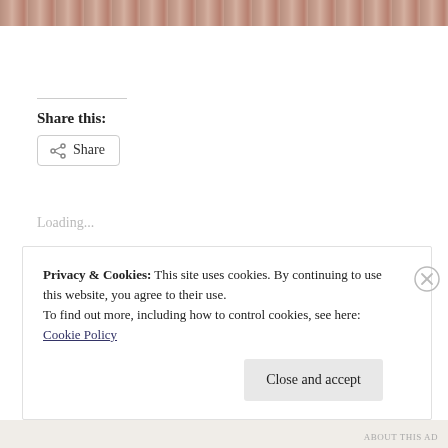[Figure (photo): Partial photo strip at the top of the page showing what appears to be food items (beans or seeds)]
Share this:
Share (button)
Loading...
Esri Allbritten   Chihuahuas, Josie O
3 Comments   August 3, 2012   1 Minute
Privacy & Cookies: This site uses cookies. By continuing to use this website, you agree to their use.
To find out more, including how to control cookies, see here: Cookie Policy
Close and accept